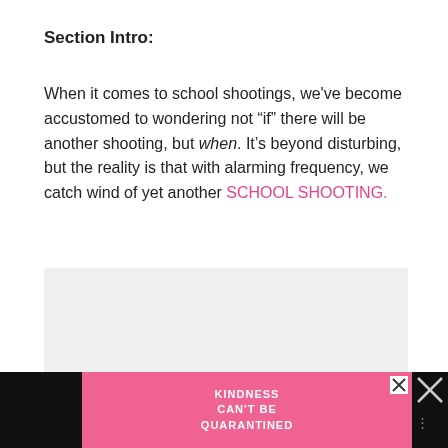Section Intro:
When it comes to school shootings, we've become accustomed to wondering not “if” there will be another shooting, but when. It’s beyond disturbing, but the reality is that with alarming frequency, we catch wind of yet another SCHOOL SHOOTING.
[Figure (other): Gray placeholder box for an image or video embed]
[Figure (other): Advertisement banner: pink background with text KINDNESS CAN'T BE QUARANTINED, close button, and icon]